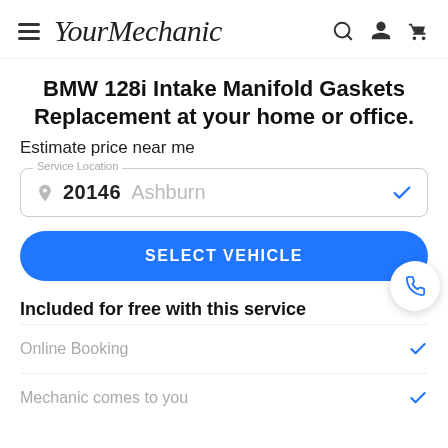YourMechanic
BMW 128i Intake Manifold Gaskets Replacement at your home or office.
Estimate price near me
Service Location: 20146 Ashburn
SELECT VEHICLE
Included for free with this service
Online Booking
Mechanic comes to you